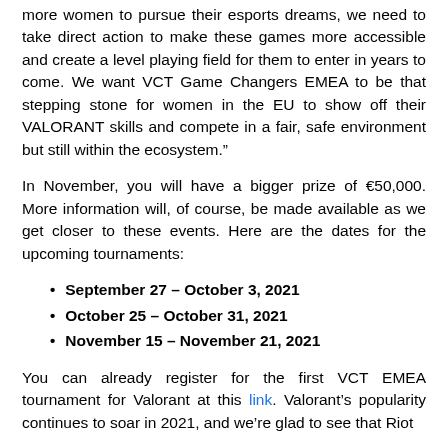more women to pursue their esports dreams, we need to take direct action to make these games more accessible and create a level playing field for them to enter in years to come. We want VCT Game Changers EMEA to be that stepping stone for women in the EU to show off their VALORANT skills and compete in a fair, safe environment but still within the ecosystem.”
In November, you will have a bigger prize of €50,000. More information will, of course, be made available as we get closer to these events. Here are the dates for the upcoming tournaments:
September 27 – October 3, 2021
October 25 – October 31, 2021
November 15 – November 21, 2021
You can already register for the first VCT EMEA tournament for Valorant at this link. Valorant’s popularity continues to soar in 2021, and we’re glad to see that Riot